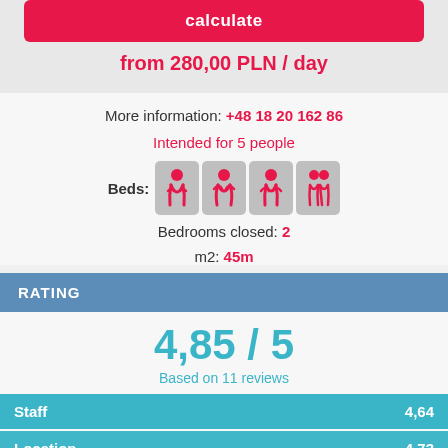calculate
from 280,00 PLN / day
More information: +48 18 20 162 86
Intended for 5 people
[Figure (illustration): Four red human figure icons in grey rounded boxes representing beds]
Beds:
Bedrooms closed: 2
m2: 45m
RATING
4,85 / 5
Based on 11 reviews
Staff 4,64
Location 4,73